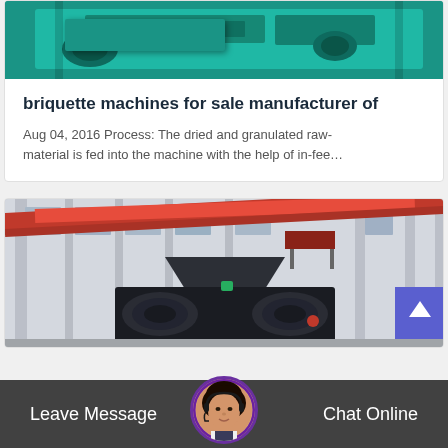[Figure (photo): Teal/green briquette press machine close-up, industrial equipment]
briquette machines for sale manufacturer of
Aug 04, 2016 Process: The dried and granulated raw-material is fed into the machine with the help of in-fee…
[Figure (photo): Industrial factory interior with red overhead crane and large briquette/roller press machine in foreground]
Leave Message
[Figure (photo): Customer service representative avatar with headset]
Chat Online